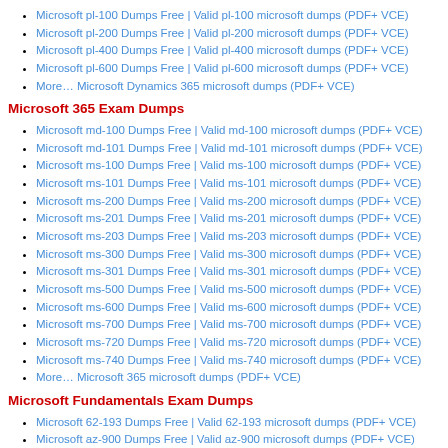Microsoft pl-100 Dumps Free | Valid pl-100 microsoft dumps (PDF+ VCE)
Microsoft pl-200 Dumps Free | Valid pl-200 microsoft dumps (PDF+ VCE)
Microsoft pl-400 Dumps Free | Valid pl-400 microsoft dumps (PDF+ VCE)
Microsoft pl-600 Dumps Free | Valid pl-600 microsoft dumps (PDF+ VCE)
More… Microsoft Dynamics 365 microsoft dumps (PDF+ VCE)
Microsoft 365 Exam Dumps
Microsoft md-100 Dumps Free | Valid md-100 microsoft dumps (PDF+ VCE)
Microsoft md-101 Dumps Free | Valid md-101 microsoft dumps (PDF+ VCE)
Microsoft ms-100 Dumps Free | Valid ms-100 microsoft dumps (PDF+ VCE)
Microsoft ms-101 Dumps Free | Valid ms-101 microsoft dumps (PDF+ VCE)
Microsoft ms-200 Dumps Free | Valid ms-200 microsoft dumps (PDF+ VCE)
Microsoft ms-201 Dumps Free | Valid ms-201 microsoft dumps (PDF+ VCE)
Microsoft ms-203 Dumps Free | Valid ms-203 microsoft dumps (PDF+ VCE)
Microsoft ms-300 Dumps Free | Valid ms-300 microsoft dumps (PDF+ VCE)
Microsoft ms-301 Dumps Free | Valid ms-301 microsoft dumps (PDF+ VCE)
Microsoft ms-500 Dumps Free | Valid ms-500 microsoft dumps (PDF+ VCE)
Microsoft ms-600 Dumps Free | Valid ms-600 microsoft dumps (PDF+ VCE)
Microsoft ms-700 Dumps Free | Valid ms-700 microsoft dumps (PDF+ VCE)
Microsoft ms-720 Dumps Free | Valid ms-720 microsoft dumps (PDF+ VCE)
Microsoft ms-740 Dumps Free | Valid ms-740 microsoft dumps (PDF+ VCE)
More… Microsoft 365 microsoft dumps (PDF+ VCE)
Microsoft Fundamentals Exam Dumps
Microsoft 62-193 Dumps Free | Valid 62-193 microsoft dumps (PDF+ VCE)
Microsoft az-900 Dumps Free | Valid az-900 microsoft dumps (PDF+ VCE)
Microsoft ai-900 Dumps Free | Valid ai-900 microsoft dumps (PDF+ VCE)